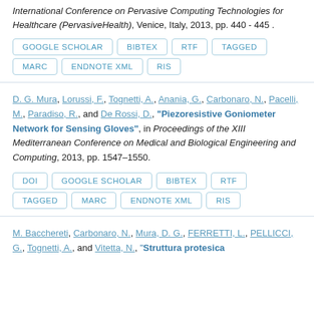International Conference on Pervasive Computing Technologies for Healthcare (PervasiveHealth), Venice, Italy, 2013, pp. 440 - 445 .
GOOGLE SCHOLAR
BIBTEX
RTF
TAGGED
MARC
ENDNOTE XML
RIS
D. G. Mura, Lorussi, F., Tognetti, A., Anania, G., Carbonaro, N., Pacelli, M., Paradiso, R., and De Rossi, D., "Piezoresistive Goniometer Network for Sensing Gloves", in Proceedings of the XIII Mediterranean Conference on Medical and Biological Engineering and Computing, 2013, pp. 1547–1550.
DOI
GOOGLE SCHOLAR
BIBTEX
RTF
TAGGED
MARC
ENDNOTE XML
RIS
M. Bacchereti, Carbonaro, N., Mura, D. G., FERRETTI, L., PELLICCI, G., Tognetti, A., and Vitetta, N., "Struttura protesica...